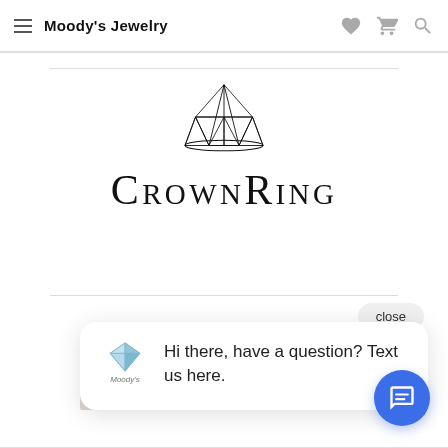Moody's Jewelry
[Figure (logo): CrownRing brand logo: geometric crown/diamond outline above the text 'CROWNRING' in large serif small-caps letters]
close
[Figure (screenshot): Chat popup with Moody's diamond logo avatar and text: Hi there, have a question? Text us here.]
[Figure (logo): Partially visible background logo with letters EAF EH in brown/taupe color]
[Figure (other): Blue circular chat button with message icon]